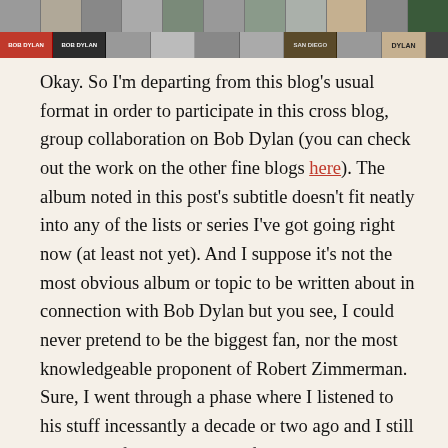[Figure (photo): A horizontal strip of Bob Dylan album cover thumbnails at the top of the page, with two rows of images. The bottom row includes labels reading 'BOB DYLAN'.]
Okay. So I'm departing from this blog's usual format in order to participate in this cross blog, group collaboration on Bob Dylan (you can check out the work on the other fine blogs here). The album noted in this post's subtitle doesn't fit neatly into any of the lists or series I've got going right now (at least not yet). And I suppose it's not the most obvious album or topic to be written about in connection with Bob Dylan but you see, I could never pretend to be the biggest fan, nor the most knowledgeable proponent of Robert Zimmerman. Sure, I went through a phase where I listened to his stuff incessantly a decade or two ago and I still have one of his many 'best of' compilations in my iTunes library, but that phase was short-lived and that compilation rarely sees play these days. Still, he's a great lyricist and songwriter and I really do enjoy a bunch of his tunes. I